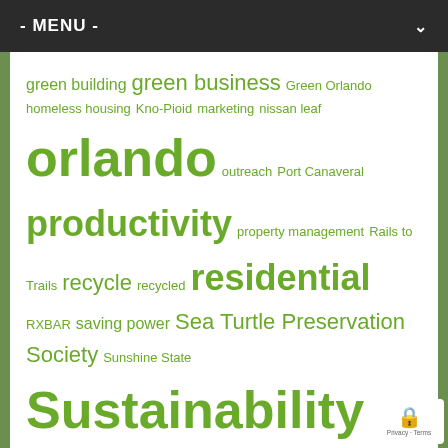- MENU -
green building green business Green Orlando homeless housing Kno-Pioid marketing nissan leaf orlando outreach Port Canaveral productivity property management Rails to Trails recycle recycled residential RXBAR saving power Sea Turtle Preservation Society Sunshine State Sustainability TechXpo veteran win-win work from home
Support Us
Support GreenOrlando
Donate
Publishing a site like GreenOrlando takes huge amounts of sustained effort. Since 2004, we've done our best to